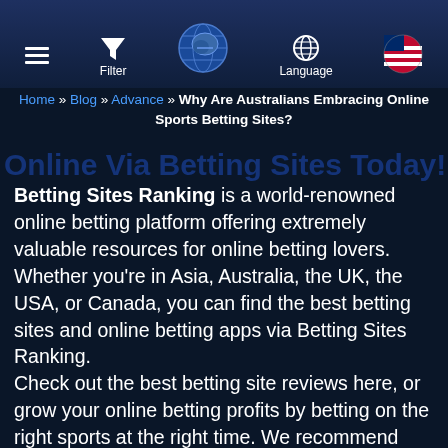Navigation bar with hamburger menu, Filter, globe icon, Language, and US flag
Home » Blog » Advance » Why Are Australians Embracing Online Sports Betting Sites?
Online Vie Betting Sites Today!
Betting Sites Ranking is a world-renowned online betting platform offering extremely valuable resources for online betting lovers. Whether you're in Asia, Australia, the UK, the USA, or Canada, you can find the best betting sites and online betting apps via Betting Sites Ranking.
Check out the best betting site reviews here, or grow your online betting profits by betting on the right sports at the right time. We recommend you choose reliable punting stations like Vbet, PariMatch, 888, Stake, and 22bet.